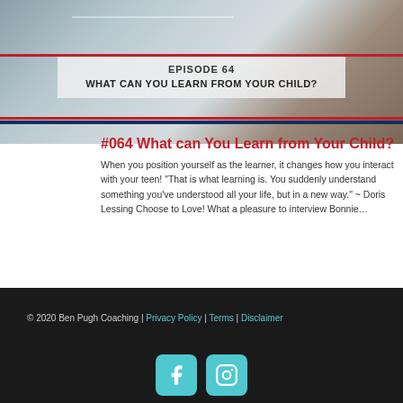[Figure (photo): Banner image showing a chalkboard/classroom scene with text overlay for podcast episode 64]
EPISODE 64
WHAT CAN YOU LEARN FROM YOUR CHILD?
#064 What can You Learn from Your Child?
When you position yourself as the learner, it changes how you interact with your teen! "That is what learning is. You suddenly understand something you've understood all your life, but in a new way." ~ Doris Lessing Choose to Love! What a pleasure to interview Bonnie…
« Older Entries
© 2020 Ben Pugh Coaching | Privacy Policy | Terms | Disclaimer